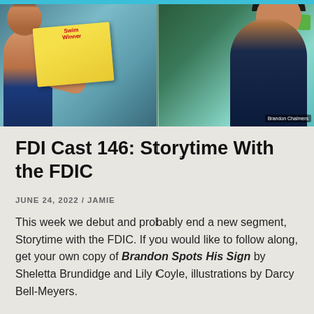[Figure (photo): Split video screenshot showing two participants in a podcast/video call. Left side shows a person holding up a children's book called 'Swim Winner' with colorful illustrations. Right side shows a man with a beard and backwards cap in a dark sleeveless shirt, labeled 'Brandon Chalmers'.]
FDI Cast 146: Storytime With the FDIC
JUNE 24, 2022 / JAMIE
This week we debut and probably end a new segment, Storytime with the FDIC. If you would like to follow along, get your own copy of Brandon Spots His Sign by Sheletta Brundidge and Lily Coyle, illustrations by Darcy Bell-Meyers.